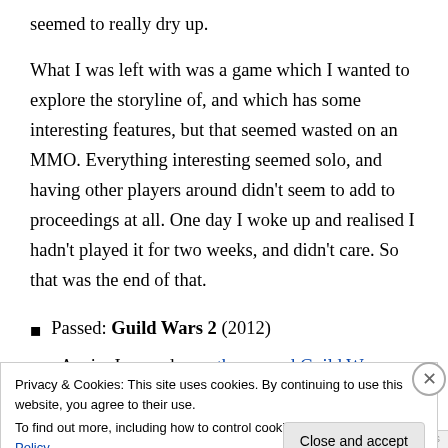seemed to really dry up.
What I was left with was a game which I wanted to explore the storyline of, and which has some interesting features, but that seemed wasted on an MMO. Everything interesting seemed solo, and having other players around didn't seem to add to proceedings at all. One day I woke up and realised I hadn't played it for two weeks, and didn't care. So that was the end of that.
Passed: Guild Wars 2 (2012)
Again, I passed over the second Guild Wars game as
Privacy & Cookies: This site uses cookies. By continuing to use this website, you agree to their use.
To find out more, including how to control cookies, see here: Cookie Policy
Close and accept